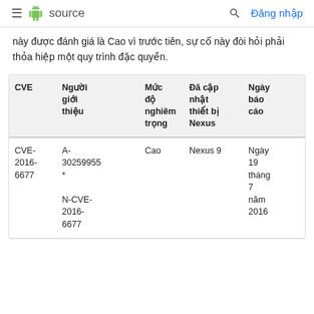≡  source   🔍  Đăng nhập
này được đánh giá là Cao vì trước tiên, sự cố này đòi hỏi phải thỏa hiệp một quy trình đặc quyền.
| CVE | Người giới thiệu | Mức độ nghiêm trọng | Đã cập nhật thiết bị Nexus | Ngày báo cáo |
| --- | --- | --- | --- | --- |
| CVE-2016-6677 | A-30259955*
N-CVE-2016-6677 | Cao | Nexus 9 | Ngày 19 tháng 7 năm 2016 |